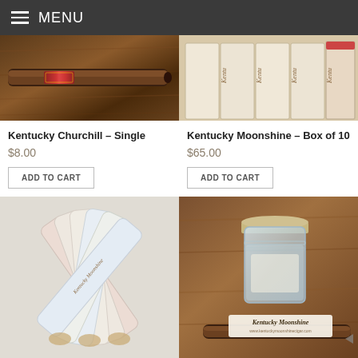MENU
[Figure (photo): Photo of a dark brown cigar with a red band label on a wooden surface]
Kentucky Churchill – Single
$8.00
ADD TO CART
[Figure (photo): Photo of multiple Kentucky Moonshine cigar boxes stacked with labels visible]
Kentucky Moonshine – Box of 10
$65.00
ADD TO CART
[Figure (photo): Photo of multiple Kentucky Moonshine cigar pouches fanned out in various colors]
[Figure (photo): Photo of a mason jar and a Kentucky Moonshine cigar on a wooden surface]